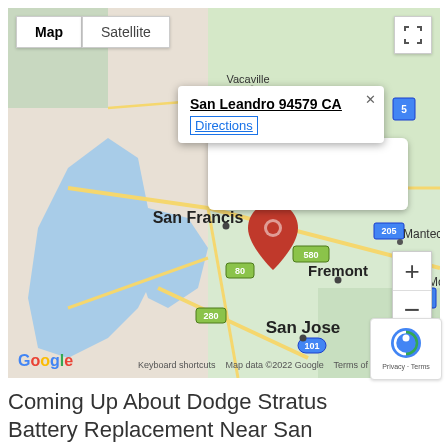[Figure (map): Google Maps view of San Francisco Bay Area showing San Leandro 94579 CA location with a red pin marker. Map shows San Francisco, Fremont, San Jose, Stockton, Manteca, Vacaville. Roads/highways visible: 5, 205, 580, 280, 101, 80. Map/Satellite toggle buttons top-left, zoom +/- controls bottom-right, Google logo bottom-left, 'Keyboard shortcuts  Map data ©2022 Google  Terms of Use' bottom.]
Coming Up About Dodge Stratus Battery Replacement Near San Leandro 94579 CA,